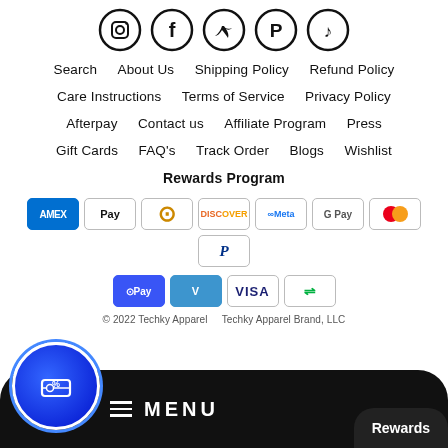[Figure (illustration): Row of 5 social media icons in circles: Instagram, Facebook, Twitter, Pinterest, TikTok]
Search   About Us   Shipping Policy   Refund Policy
Care Instructions   Terms of Service   Privacy Policy
Afterpay   Contact us   Affiliate Program   Press
Gift Cards   FAQ's   Track Order   Blogs   Wishlist
Rewards Program
[Figure (illustration): Payment method badges: American Express, Apple Pay, Diners Club, Discover, Meta Pay, Google Pay, Mastercard, PayPal, O Pay, Venmo, Visa, Link]
© 2022 Techky Apparel     Techky Apparel Brand, LLC
[Figure (other): Black bottom navigation bar with blue rewards circle icon with ticket/discount symbol on the left, hamburger menu icon and MENU text in center, Rewards button on right]